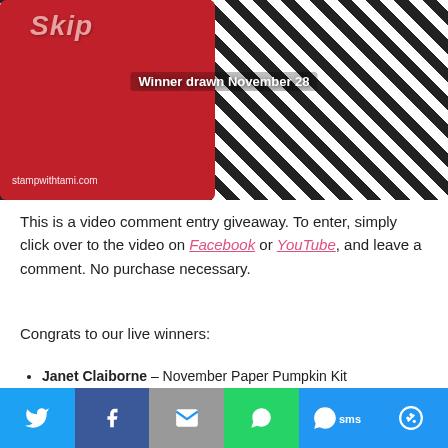[Figure (photo): Photo of Skip and Paper Pumpkin products on a wooden surface with gingham black and white pattern, red panel with decorative swirls, and text 'Winner drawn November 28' and 'stampwithtami.com']
This is a video comment entry giveaway. To enter, simply click over to the video on Facebook or YouTube, and leave a comment. No purchase necessary.
Congrats to our live winners:
Janet Claiborne – November Paper Pumpkin Kit
Peggy Green – November Paper Pumpkin Kit
[Figure (infographic): Social sharing bar with Twitter, Facebook, Email, WhatsApp, SMS, and More buttons]